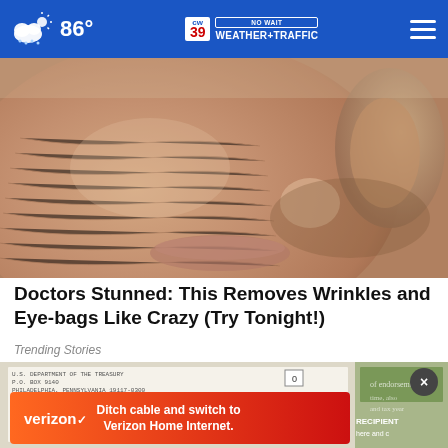86° CW39 NO WAIT WEATHER+TRAFFIC
[Figure (photo): Close-up photo of elderly person's face showing wrinkled skin near the cheek and lips area]
Doctors Stunned: This Removes Wrinkles and Eye-bags Like Crazy (Try Tonight!)
Trending Stories
[Figure (photo): Background image of tax/government document forms with dollar bills, with a Verizon advertisement banner overlay reading 'Ditch cable and switch to Verizon Home Internet.' A dark close button (×) is visible in the upper right of this section.]